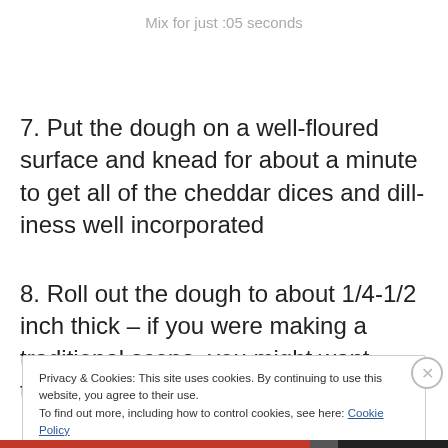Mix for just :05 seconds
7. Put the dough on a well-floured surface and knead for about a minute to get all of the cheddar dices and dilliness well incorporated
8. Roll out the dough to about 1/4-1/2 inch thick – if you were making a traditional scone, you might want them
Privacy & Cookies: This site uses cookies. By continuing to use this website, you agree to their use.
To find out more, including how to control cookies, see here: Cookie Policy